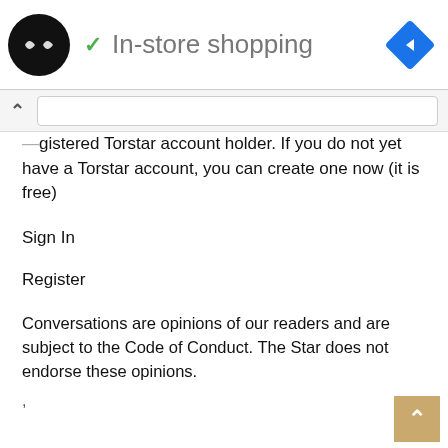[Figure (screenshot): Top banner ad showing a black circular logo with arrow icons, a green checkmark, 'In-store shopping' text, and a blue diamond navigation icon on the right.]
[Figure (screenshot): Browser URL bar with up caret chevron and white input field partially visible.]
...gistered Torstar account holder. If you do not yet have a Torstar account, you can create one now (it is free)
Sign In
Register
Conversations are opinions of our readers and are subject to the Code of Conduct. The Star does not endorse these opinions.
,